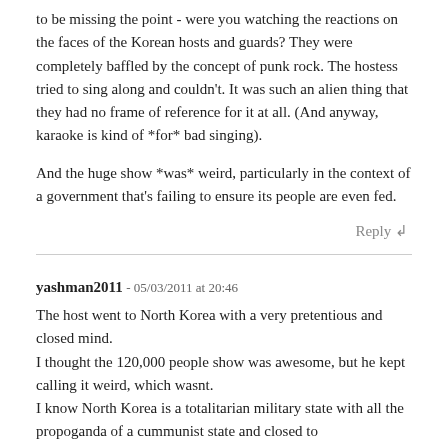to be missing the point - were you watching the reactions on the faces of the Korean hosts and guards? They were completely baffled by the concept of punk rock. The hostess tried to sing along and couldn't. It was such an alien thing that they had no frame of reference for it at all. (And anyway, karaoke is kind of *for* bad singing).
And the huge show *was* weird, particularly in the context of a government that's failing to ensure its people are even fed.
Reply
yashman2011 - 05/03/2011 at 20:46
The host went to North Korea with a very pretentious and closed mind.
I thought the 120,000 people show was awesome, but he kept calling it weird, which wasnt.
I know North Korea is a totalitarian military state with all the propoganda of a cummunist state and closed to